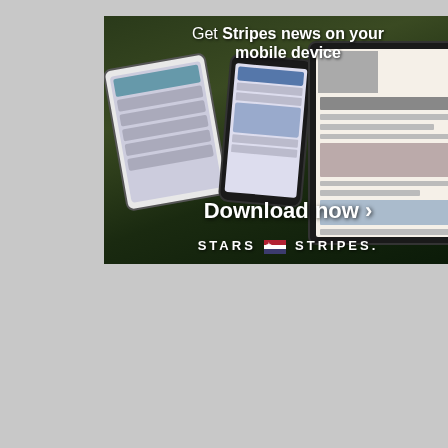[Figure (advertisement): Stars and Stripes mobile app advertisement. Dark background showing hands holding smartphones and a tablet with the Stars and Stripes app displayed on grass. Text reads: 'Get Stripes news on your mobile device', 'Download now >', 'STARS AND STRIPES.' with logo. Close button (X) in top right corner.]
[Figure (advertisement): Stars and Stripes book advertisement for 'SERVING IN IRAQ'. Text reads: 'STARS AND STRIPES', 'SERVING IN IRAQ' in bold large letters, 'The U.S. Military in Iraq As Seen Through the Eyes of Stars and Stripes Reporters'. Shows war photography images of U.S. military in Iraq. Close button (X) in top right. Scroll-up button visible on right side.]